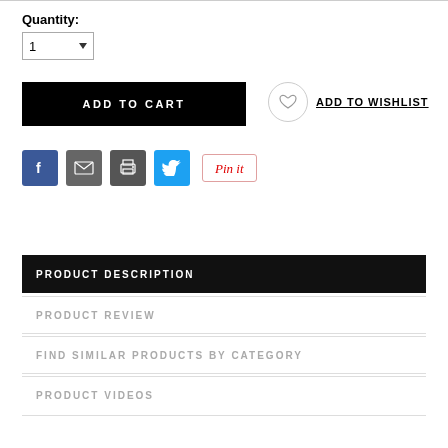Quantity:
1
ADD TO CART
ADD TO WISHLIST
[Figure (other): Social sharing icons: Facebook, Email, Print, Twitter, and Pinterest Pin it button]
PRODUCT DESCRIPTION
PRODUCT REVIEW
FIND SIMILAR PRODUCTS BY CATEGORY
PRODUCT VIDEOS